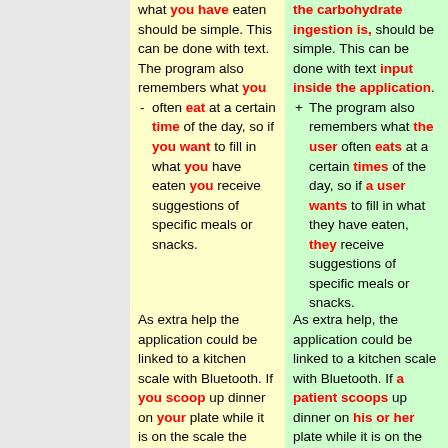what you have eaten should be simple. This can be done with text. The program also remembers what you often eat at a certain time of the day, so if you want to fill in what you have eaten you receive suggestions of specific meals or snacks.
the carbohydrate ingestion is, should be simple. This can be done with text input inside the application. The program also remembers what the user often eats at a certain times of the day, so if a user wants to fill in what they have eaten, they receive suggestions of specific meals or snacks.
As extra help the application could be linked to a kitchen scale with Bluetooth. If you scoop up dinner on your plate while it is on the scale the application immediately knows how much grams of a certain kind of food
As extra help, the application could be linked to a kitchen scale with Bluetooth. If a patient scoops up dinner on his or her plate while it is on the scale, the application immediately knows how much grams of the food